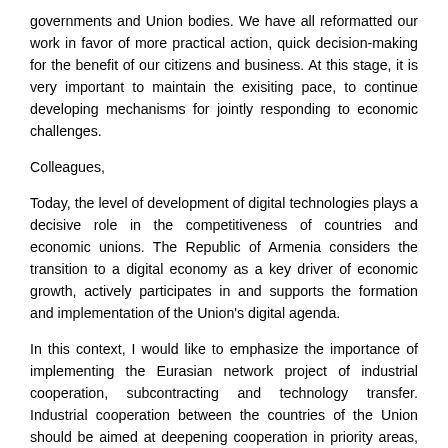governments and Union bodies. We have all reformatted our work in favor of more practical action, quick decision-making for the benefit of our citizens and business. At this stage, it is very important to maintain the exisiting pace, to continue developing mechanisms for jointly responding to economic challenges.
Colleagues,
Today, the level of development of digital technologies plays a decisive role in the competitiveness of countries and economic unions. The Republic of Armenia considers the transition to a digital economy as a key driver of economic growth, actively participates in and supports the formation and implementation of the Union's digital agenda.
In this context, I would like to emphasize the importance of implementing the Eurasian network project of industrial cooperation, subcontracting and technology transfer. Industrial cooperation between the countries of the Union should be aimed at deepening cooperation in priority areas, eliminating trade barriers, developing import substitution, introducing innovations, and creating new high-tech industries.
I would like to emphasize the importance of...